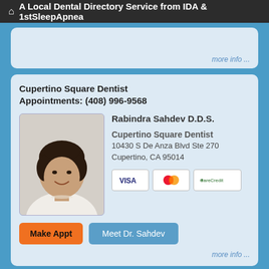A Local Dental Directory Service from IDA & 1stSleepApnea
more info ...
Cupertino Square Dentist
Appointments: (408) 996-9568
[Figure (photo): Portrait photo of Dr. Rabindra Sahdev D.D.S., a woman with short dark hair wearing a white jacket and pearl necklace, smiling]
Rabindra Sahdev D.D.S.
Cupertino Square Dentist
10430 S De Anza Blvd Ste 270
Cupertino, CA 95014
[Figure (logo): Payment method logos: VISA, MasterCard, CareCredit]
Make Appt   Meet Dr. Sahdev
more info ...